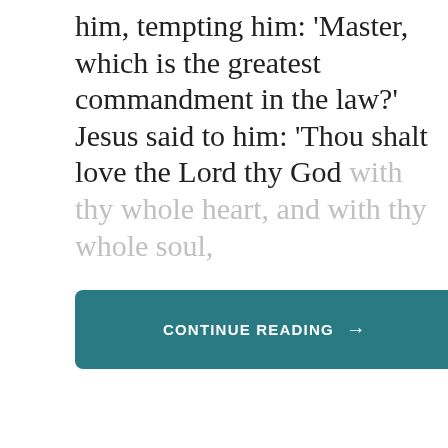him, tempting him: 'Master, which is the greatest commandment in the law?' Jesus said to him: 'Thou shalt love the Lord thy God with thy whole heart, and with thy whole soul,
[Figure (other): Teal/dark green rounded rectangle button with white uppercase text 'CONTINUE READING' and a right-arrow symbol]